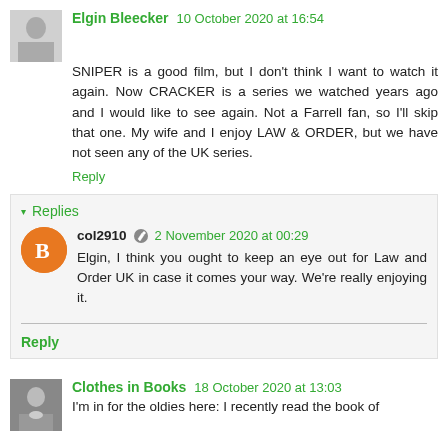[Figure (photo): Black and white avatar photo of Elgin Bleecker]
Elgin Bleecker 10 October 2020 at 16:54
SNIPER is a good film, but I don't think I want to watch it again. Now CRACKER is a series we watched years ago and I would like to see again. Not a Farrell fan, so I'll skip that one. My wife and I enjoy LAW & ORDER, but we have not seen any of the UK series.
Reply
▾ Replies
[Figure (illustration): Orange circle avatar for col2910]
col2910 ✎ 2 November 2020 at 00:29
Elgin, I think you ought to keep an eye out for Law and Order UK in case it comes your way. We're really enjoying it.
Reply
[Figure (photo): Small avatar photo of Clothes in Books commenter]
Clothes in Books 18 October 2020 at 13:03
I'm in for the oldies here: I recently read the book of